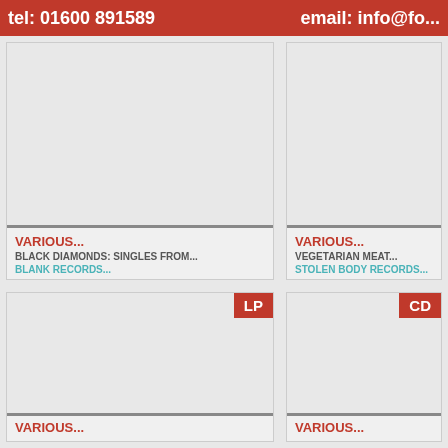tel: 01600 891589   email: info@fo...
VARIOUS...
BLACK DIAMONDS: SINGLES FROM...
BLANK RECORDS...
VARIOUS...
VEGETARIAN MEAT...
STOLEN BODY RECORDS...
[Figure (other): Album cover image placeholder (LP)]
[Figure (other): Album cover image placeholder (CD)]
VARIOUS...
VARIOUS...